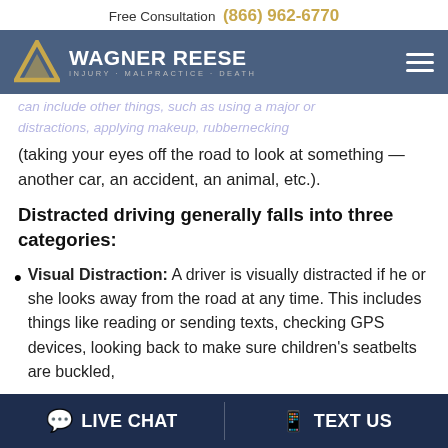Free Consultation (866) 962-6770
[Figure (logo): Wagner Reese law firm logo with gold triangle and white text. Tagline: Injury · Malpractice · Death]
can include other things, such as using a major or distractions, applying makeup, rubbernecking (taking your eyes off the road to look at something —another car, an accident, an animal, etc.).
Distracted driving generally falls into three categories:
Visual Distraction: A driver is visually distracted if he or she looks away from the road at any time. This includes things like reading or sending texts, checking GPS devices, looking back to make sure children's seatbelts are buckled,
LIVE CHAT   TEXT US